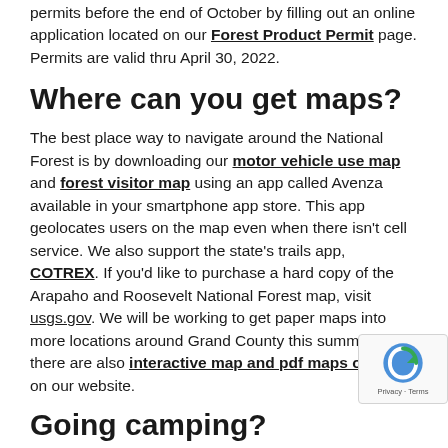permits before the end of October by filling out an online application located on our Forest Product Permit page. Permits are valid thru April 30, 2022.
Where can you get maps?
The best place way to navigate around the National Forest is by downloading our motor vehicle use map and forest visitor map using an app called Avenza available in your smartphone app store. This app geolocates users on the map even when there isn't cell service. We also support the state's trails app, COTREX. If you'd like to purchase a hard copy of the Arapaho and Roosevelt National Forest map, visit usgs.gov. We will be working to get paper maps into more locations around Grand County this summer, and there are also interactive map and pdf maps options on our website.
Going camping?